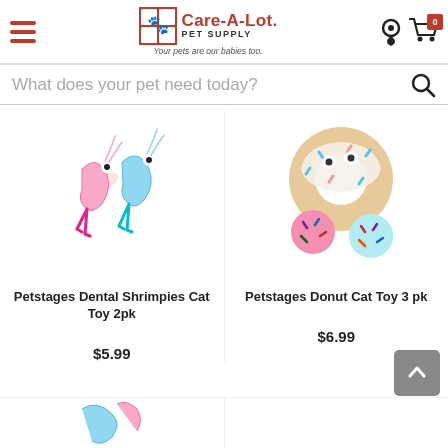Care-A-Lot Pet Supply — Your pets are our babies too.
What does your pet need today?
[Figure (photo): Petstages Dental Shrimpies Cat Toy 2pk — two colorful shrimp-shaped plush cat toys, one pink and one blue]
Petstages Dental Shrimpies Cat Toy 2pk
$5.99
[Figure (photo): Petstages Donut Cat Toy 3 pk — a large donut-shaped plush toy with googly eyes and two smaller sprinkle-ball toys in pink and blue]
Petstages Donut Cat Toy 3 pk
$6.99